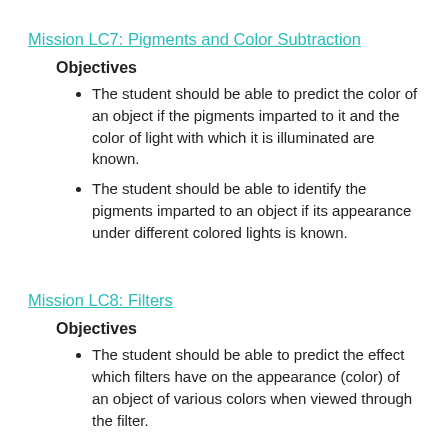Mission LC7: Pigments and Color Subtraction
Objectives
The student should be able to predict the color of an object if the pigments imparted to it and the color of light with which it is illuminated are known.
The student should be able to identify the pigments imparted to an object if its appearance under different colored lights is known.
Mission LC8: Filters
Objectives
The student should be able to predict the effect which filters have on the appearance (color) of an object of various colors when viewed through the filter.